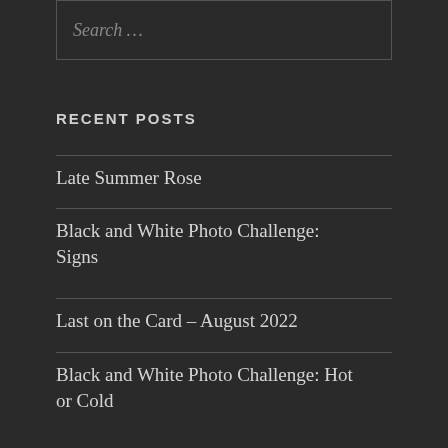Search …
RECENT POSTS
Late Summer Rose
Black and White Photo Challenge: Signs
Last on the Card – August 2022
Black and White Photo Challenge: Hot or Cold